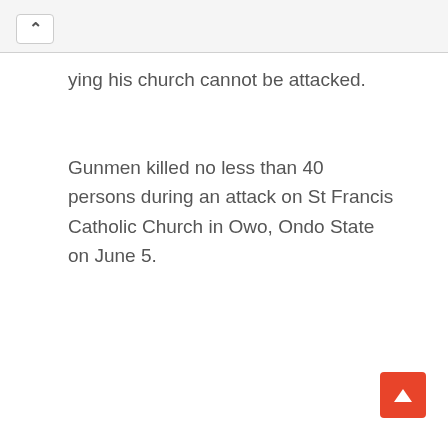…ying his church cannot be attacked.
Gunmen killed no less than 40 persons during an attack on St Francis Catholic Church in Owo, Ondo State on June 5.